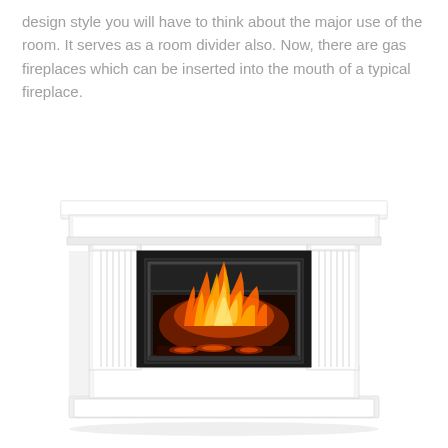design style you will have to think about the major use of the room. It serves as a room divider also. Now, there are gas fireplaces which can be inserted into the mouth of a typical fireplace.
[Figure (photo): A white electric fireplace with a classical mantel surround featuring fluted pilasters, decorative corbels, and a wide mantel shelf. The firebox insert shows glowing orange and yellow flames with logs at the bottom, set against a black surround panel.]